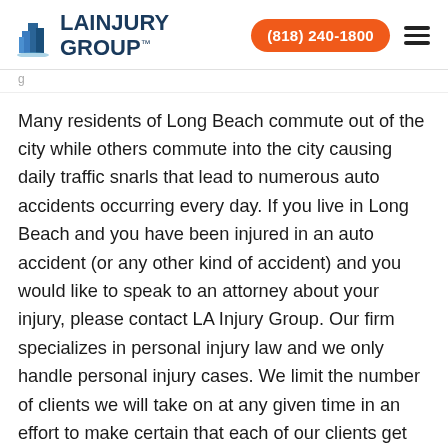LA INJURY GROUP — (818) 240-1800
Many residents of Long Beach commute out of the city while others commute into the city causing daily traffic snarls that lead to numerous auto accidents occurring every day. If you live in Long Beach and you have been injured in an auto accident (or any other kind of accident) and you would like to speak to an attorney about your injury, please contact LA Injury Group. Our firm specializes in personal injury law and we only handle personal injury cases. We limit the number of clients we will take on at any given time in an effort to make certain that each of our clients get the personalized, world class service they deserve.